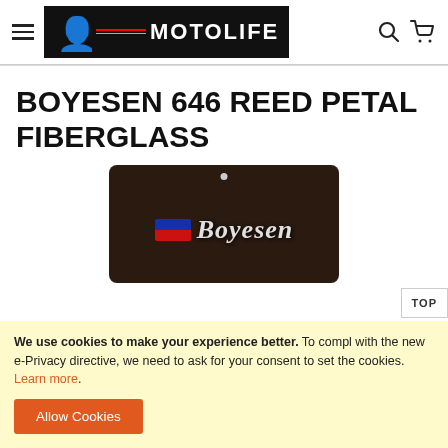MOTOLIFE — navigation header with hamburger menu, logo, search and cart icons
BOYESEN 646 REED PETAL FIBERGLASS
[Figure (photo): Photo of a Boyesen reed petal fiberglass product on a dark background, showing the Boyesen logo with flag-style icon]
We use cookies to make your experience better. To comply with the new e-Privacy directive, we need to ask for your consent to set the cookies. Learn more.
Allow Cookies